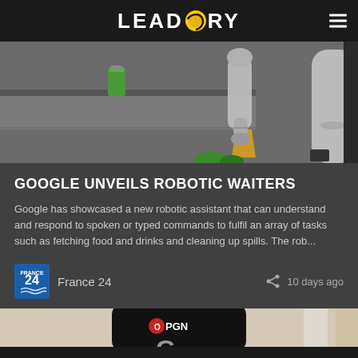LEADSTORY
[Figure (photo): Robotic arm in a kitchen/restaurant setting with green can on counter and robotic equipment visible]
GOOGLE UNVEILS ROBOTIC WAITERS
Google has showcased a new robotic assistant that can understand and respond to spoken or typed commands to fulfil an array of tasks such as fetching food and drinks and cleaning up spills. The rob...
France 24    10 days ago
[Figure (photo): Hand holding a smartphone showing OPN/G logo, partial G letter visible below]